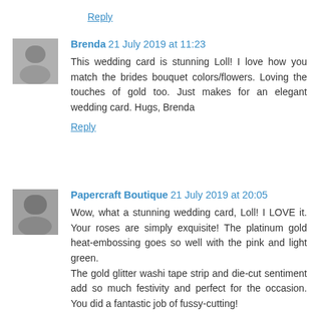Reply
Brenda 21 July 2019 at 11:23
This wedding card is stunning Loll! I love how you match the brides bouquet colors/flowers. Loving the touches of gold too. Just makes for an elegant wedding card. Hugs, Brenda
Reply
Papercraft Boutique 21 July 2019 at 20:05
Wow, what a stunning wedding card, Loll! I LOVE it. Your roses are simply exquisite! The platinum gold heat-embossing goes so well with the pink and light green.
The gold glitter washi tape strip and die-cut sentiment add so much festivity and perfect for the occasion. You did a fantastic job of fussy-cutting!
Hideko xx
Reply